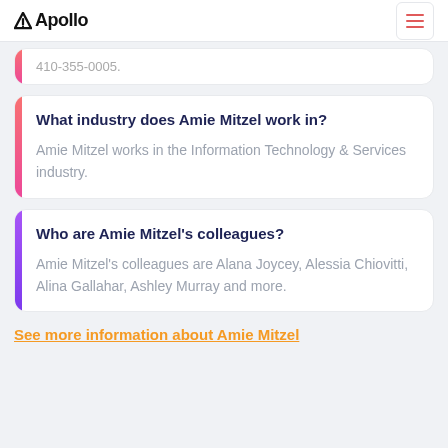Apollo
410-355-0005.
What industry does Amie Mitzel work in?
Amie Mitzel works in the Information Technology & Services industry.
Who are Amie Mitzel's colleagues?
Amie Mitzel's colleagues are Alana Joycey, Alessia Chiovitti, Alina Gallahar, Ashley Murray and more.
See more information about Amie Mitzel